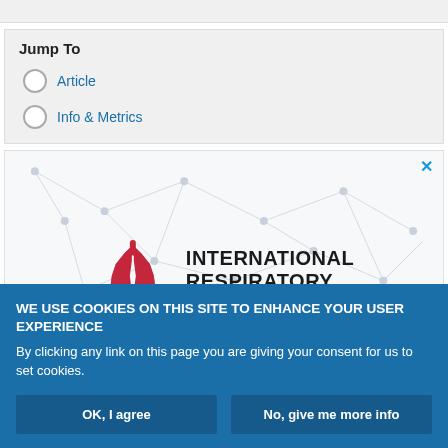Jump To
Article
Info & Metrics
[Figure (logo): International Respiratory Coalition logo with geometric lung illustration and text: INTERNATIONAL RESPIRATORY COALITION]
WE USE COOKIES ON THIS SITE TO ENHANCE YOUR USER EXPERIENCE
By clicking any link on this page you are giving your consent for us to set cookies.
OK, I agree
No, give me more info